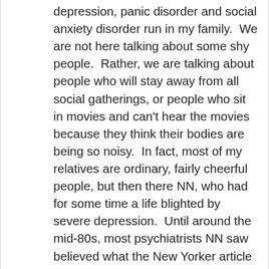depression, panic disorder and social anxiety disorder run in my family.  We are not here talking about some shy people.  Rather, we are talking about people who will stay away from all social gatherings, or people who sit in movies and can't hear the movies because they think their bodies are being so noisy.  In fact, most of my relatives are ordinary, fairly cheerful people, but then there NN, who had for some time a life blighted by severe depression.  Until around the mid-80s, most psychiatrists NN saw  believed what the New Yorker article is suggesting; anti-depressants may not be exactly a placebo,  but they really shouldn't have much of a role in mental health.  So, because people  move around and so on, NN saw  three different doctors for severe depression  and a pattern eventually became  clear.  Severe depression then pills then recovery then tapering off then